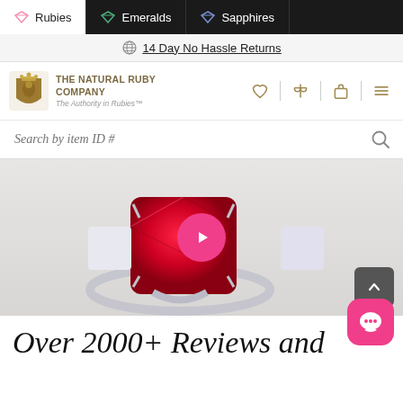Rubies | Emeralds | Sapphires
14 Day No Hassle Returns
[Figure (logo): The Natural Ruby Company crest logo with text 'THE NATURAL RUBY COMPANY - The Authority in Rubies™']
Search by item ID #
[Figure (photo): Two gemstone rings side by side — a large red ruby ring and a pink sapphire ring with diamonds — on white background with a pink play button overlay for video]
Over 2000+ Reviews and